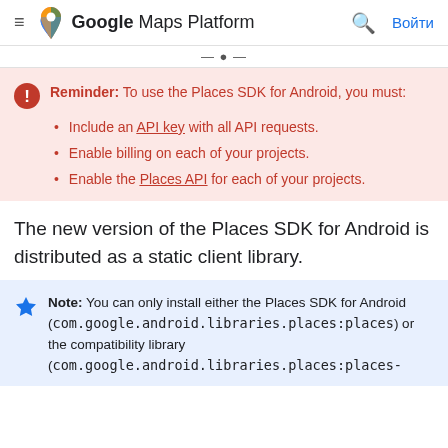Google Maps Platform  Войти
Reminder: To use the Places SDK for Android, you must:
Include an API key with all API requests.
Enable billing on each of your projects.
Enable the Places API for each of your projects.
The new version of the Places SDK for Android is distributed as a static client library.
Note: You can only install either the Places SDK for Android (com.google.android.libraries.places:places) or the compatibility library (com.google.android.libraries.places:places-